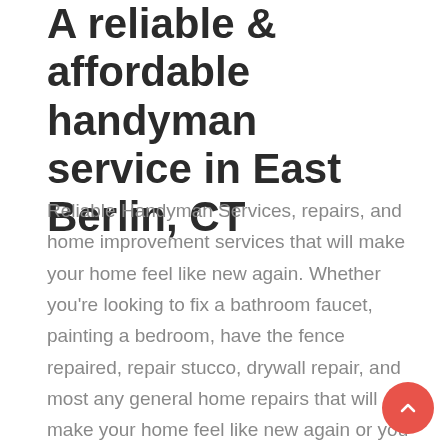A reliable & affordable handyman service in East Berlin, CT
Reliable Handyman Services, repairs, and home improvement services that will make your home feel like new again. Whether you're looking to fix a bathroom faucet, painting a bedroom, have the fence repaired, repair stucco, drywall repair, and most any general home repairs that will make your home feel like new again or you want to just have the HONEY-DO-LIST finished. I've got the professional handyman experience, tools, and skill to get the job done right. Licensed, Bonded, and